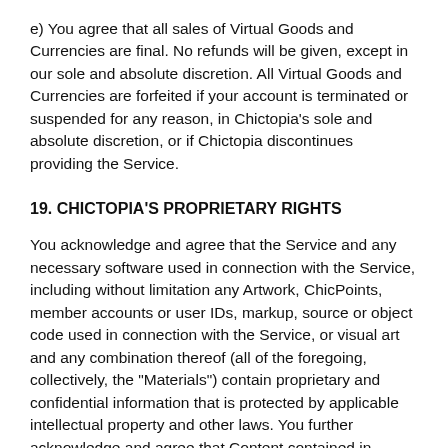e) You agree that all sales of Virtual Goods and Currencies are final. No refunds will be given, except in our sole and absolute discretion. All Virtual Goods and Currencies are forfeited if your account is terminated or suspended for any reason, in Chictopia's sole and absolute discretion, or if Chictopia discontinues providing the Service.
19. CHICTOPIA'S PROPRIETARY RIGHTS
You acknowledge and agree that the Service and any necessary software used in connection with the Service, including without limitation any Artwork, ChicPoints, member accounts or user IDs, markup, source or object code used in connection with the Service, or visual art and any combination thereof (all of the foregoing, collectively, the "Materials") contain proprietary and confidential information that is protected by applicable intellectual property and other laws. You further acknowledge and agree that Content contained in sponsor advertisements or information presented to you through the Service or by advertisers is protected by copyrights, trademarks, service marks, patents or other proprietary rights and laws. Except as expressly permitted by applicable law or